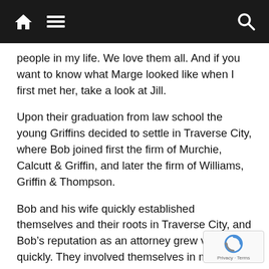[Navigation bar with home icon, menu icon, and search icon]
people in my life. We love them all. And if you want to know what Marge looked like when I first met her, take a look at Jill.
Upon their graduation from law school the young Griffins decided to settle in Traverse City, where Bob joined first the firm of Murchie, Calcutt & Griffin, and later the firm of Williams, Griffin & Thompson.
Bob and his wife quickly established themselves and their roots in Traverse City, and Bob’s reputation as an attorney grew very quickly. They involved themselves in many activities, which I will not spread upon the record here, but which included the Kiv and many other civic activities. In 1955 he was als chairman of the Republican Committee for Gran